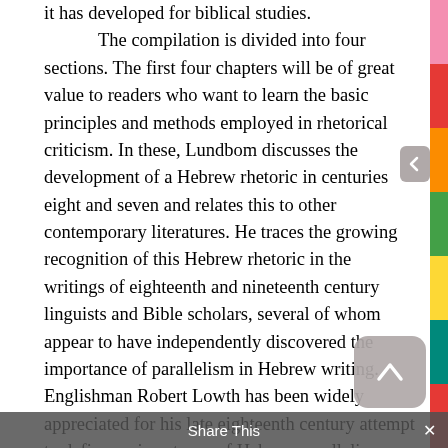it has developed for biblical studies. The compilation is divided into four sections. The first four chapters will be of great value to readers who want to learn the basic principles and methods employed in rhetorical criticism. In these, Lundbom discusses the development of a Hebrew rhetoric in centuries eight and seven and relates this to other contemporary literatures. He traces the growing recognition of this Hebrew rhetoric in the writings of eighteenth and nineteenth century linguists and Bible scholars, several of whom appear to have independently discovered the importance of parallelism in Hebrew writing. Englishman Robert Lowth has been widely appreciated for his late eighteenth century attempt to define various types of Hebrew parallelism. But as Lundbom points out in detail, we now know that a German scholar, Christian Schöttner, had produced an even more sensitive